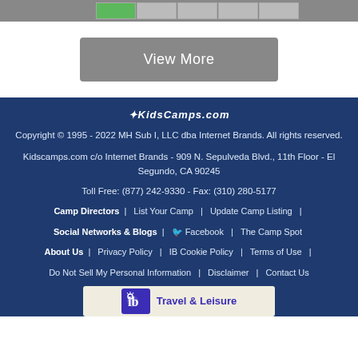[Figure (other): Top navigation bar with tabs, one highlighted green]
View More
KidsCamps.com
Copyright © 1995 - 2022 MH Sub I, LLC dba Internet Brands. All rights reserved.
Kidscamps.com c/o Internet Brands - 909 N. Sepulveda Blvd., 11th Floor - El Segundo, CA 90245
Toll Free: (877) 242-9330 - Fax: (310) 280-5177
Camp Directors | List Your Camp | Update Camp Listing |
Social Networks & Blogs | Facebook | The Camp Spot
About Us | Privacy Policy | IB Cookie Policy | Terms of Use |
Do Not Sell My Personal Information | Disclaimer | Contact Us
[Figure (logo): IB Travel & Leisure banner/logo]